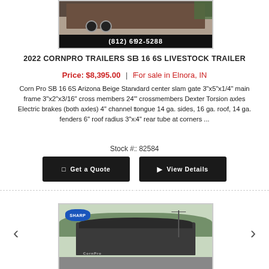[Figure (photo): Partial top view of a livestock trailer on gravel with phone number bar showing (812) 692-5288]
2022 CORNPRO TRAILERS SB 16 6S LIVESTOCK TRAILER
Price: $8,395.00 | For sale in Elnora, IN
Corn Pro SB 16 6S Arizona Beige Standard center slam gate 3"x5"x1/4" main frame 3"x2"x3/16" cross members 24" crossmembers Dexter Torsion axles Electric brakes (both axles) 4" channel tongue 14 ga. sides, 16 ga. roof, 14 ga. fenders 6" roof radius 3"x4" rear tube at corners ...
Stock #: 82584
Get a Quote   View Details
[Figure (photo): Livestock/flatbed trailer photo from front angle with Sharp Trailers logo visible, trees and road in background]